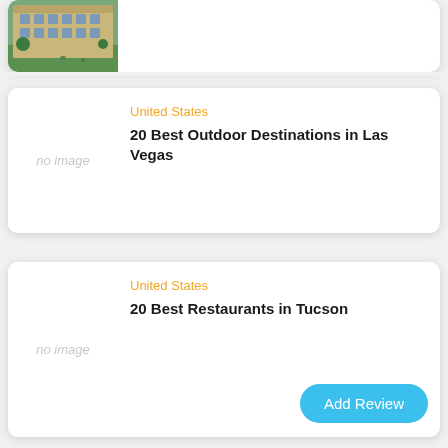[Figure (photo): Photo of a historic stone building with green lawn in foreground, partial view at top of page]
United States
20 Best Outdoor Destinations in Las Vegas
[Figure (photo): No image placeholder for second card]
United States
20 Best Restaurants in Tucson